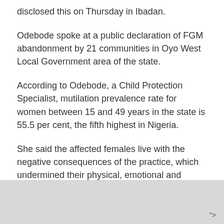disclosed this on Thursday in Ibadan.
Odebode spoke at a public declaration of FGM abandonment by 21 communities in Oyo West Local Government area of the state.
According to Odebode, a Child Protection Specialist, mutilation prevalence rate for women between 15 and 49 years in the state is 55.5 per cent, the fifth highest in Nigeria.
She said the affected females live with the negative consequences of the practice, which undermined their physical, emotional and socio-economic well-being.
She described FGM as a harmful traditional practice, a
">